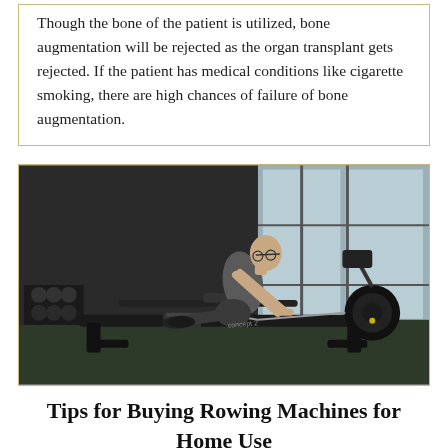Though the bone of the patient is utilized, bone augmentation will be rejected as the organ transplant gets rejected. If the patient has medical conditions like cigarette smoking, there are high chances of failure of bone augmentation.
[Figure (photo): A bald man wearing glasses and a grey sleeveless shirt using a Concept 2 rowing machine in a gym setting with large windows in the background.]
Tips for Buying Rowing Machines for Home Use